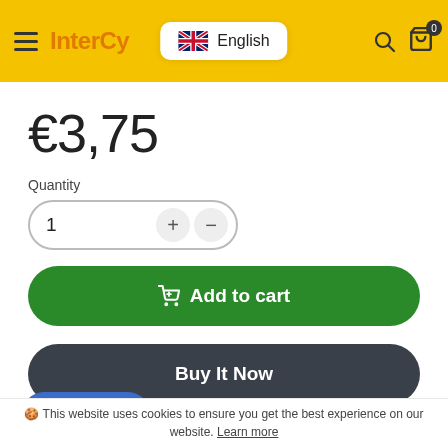InterCy | English (language selector) | Search | Cart (0)
€3,75
Quantity
1  +  -
Add to cart
Buy It Now
Thursday, 1 September
ours 53 Minutes 48 Seconds
Chat with us
This website uses cookies to ensure you get the best experience on our website. Learn more